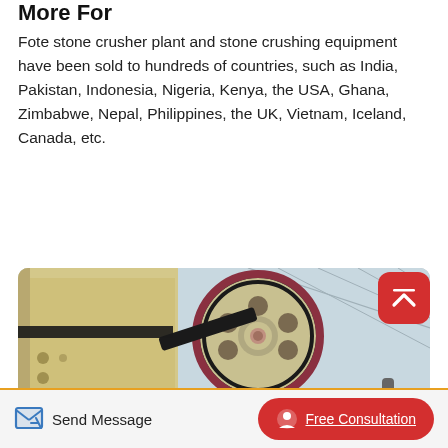More For
Fote stone crusher plant and stone crushing equipment have been sold to hundreds of countries, such as India, Pakistan, Indonesia, Nigeria, Kenya, the USA, Ghana, Zimbabwe, Nepal, Philippines, the UK, Vietnam, Iceland, Canada, etc.
Read More
[Figure (photo): Industrial stone crusher machine with large pulley wheel and belt drive mechanism, photographed inside a large warehouse structure]
Send Message
Free Consultation